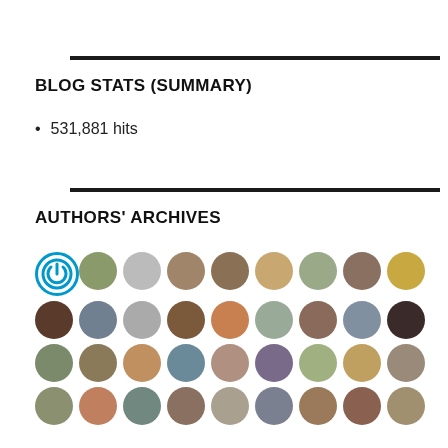BLOG STATS (SUMMARY)
531,881 hits
AUTHORS' ARCHIVES
[Figure (illustration): Grid of circular author avatar images, approximately 36 avatars arranged in 4 rows of 9 columns, including profile photos and icons of people, animals, and symbols.]